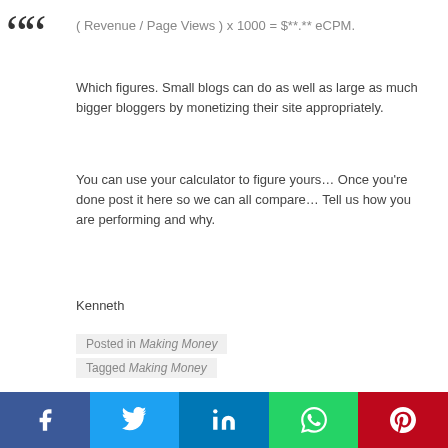Which figures. Small blogs can do as well as large as much bigger bloggers by monetizing their site appropriately.
You can use your calculator to figure yours… Once you're done post it here so we can all compare… Tell us how you are performing and why.
Kenneth
Posted in Making Money
Tagged Making Money
← October's Income on InvestorBlogger
Credit Card Expenses for October 2007 →
[Figure (infographic): Social sharing bar with Facebook, Twitter, LinkedIn, WhatsApp, and Pinterest buttons]